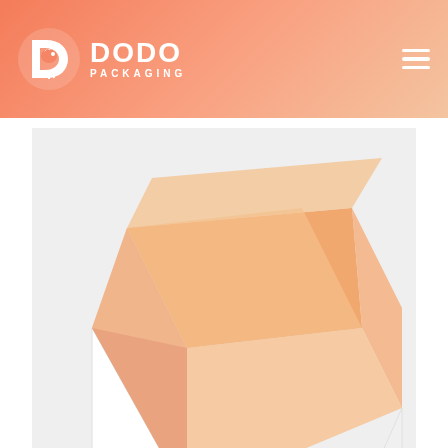DODO PACKAGING
[Figure (photo): An open white box with orange/peach interior, shown from an angle against a light gray background. The box lid is open displaying the inside.]
[Figure (other): GET A FREE QUOTE button in red/pink on the right side of the product image]
CUSTOM PRINTED DOUBLE WALL BOXES WITH DISPLAY LID